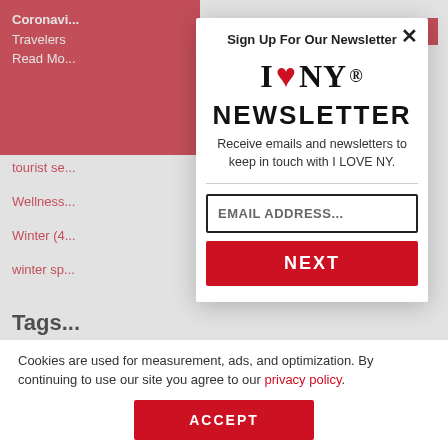Coronavirus... Travelers... Read Mo...
Close ✕
tourist se...
Wellness...
Winter (4...
winter sp...
Tags...
Auth...
Arch...
2022 (30...
Sign Up For Our Newsletter
[Figure (logo): I LOVE NY logo with red heart]
NEWSLETTER
Receive emails and newsletters to keep in touch with I LOVE NY.
EMAIL ADDRESS...
NEXT
Cookies are used for measurement, ads, and optimization. By continuing to use our site you agree to our privacy policy.
ACCEPT